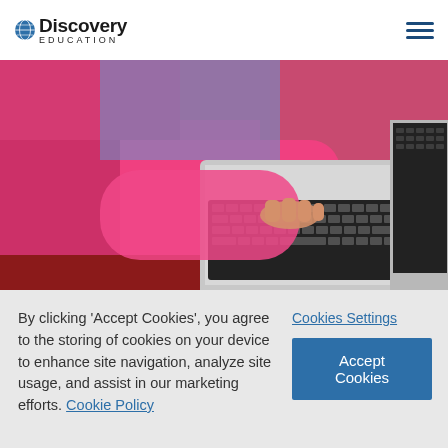Discovery Education
[Figure (photo): Two children using laptops at a red desk; close-up of hands on keyboard, child in pink long-sleeve top]
[Figure (logo): Discovery Education Coding logo — globe icon, large D, vertical blue bar, CODING text]
By clicking 'Accept Cookies', you agree to the storing of cookies on your device to enhance site navigation, analyze site usage, and assist in our marketing efforts. Cookie Policy
Cookies Settings
Accept Cookies